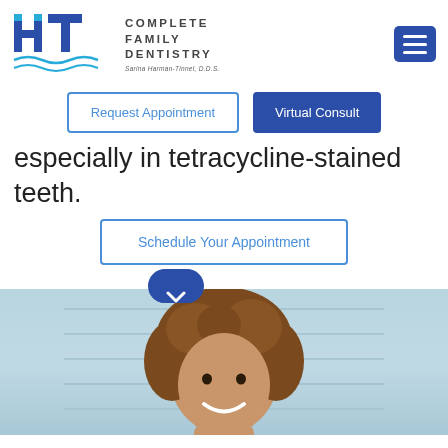[Figure (logo): HT Complete Family Dentistry logo with stylized HT letters and wave graphic, text: COMPLETE FAMILY DENTISTRY, Sarina Harman-Tinnel, D.D.S.]
[Figure (other): Hamburger menu button (three horizontal lines) on dark blue background]
Request Appointment
Virtual Consult
especially in tetracycline-stained teeth.
Schedule Your Appointment
[Figure (photo): Smiling woman with curly brown hair against a light blue wooden background]